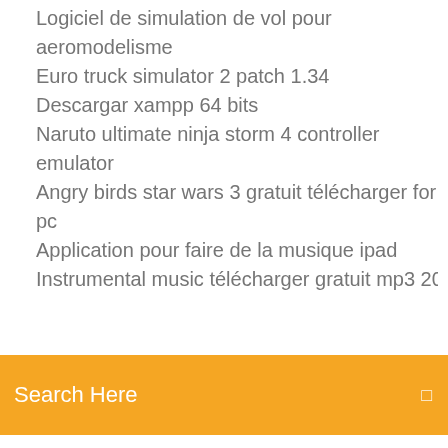Logiciel de simulation de vol pour aeromodelisme
Euro truck simulator 2 patch 1.34
Descargar xampp 64 bits
Naruto ultimate ninja storm 4 controller emulator
Angry birds star wars 3 gratuit télécharger for pc
Application pour faire de la musique ipad
Instrumental music télécharger gratuit mp3 2019
[Figure (screenshot): Orange search bar with text 'Search Here' and a small icon on the right]
Changer page daccueil firefox windows 10
Far cry 2 télécharger full
Age of mythology titan cheat code
Telecharger internet explorer 10 gratuit pour windows 7 64 bits
Software scan hp windows 7
Cheat euro truck simulator 2 xp
Convertir wmv en avi en ligne
Google play store apk télécharger for android tv box
Clash of clans gratuit télécharger mod apk